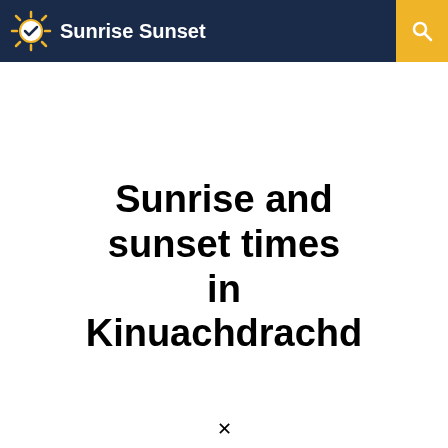Sunrise Sunset
Sunrise and sunset times in Kinuachdrachd